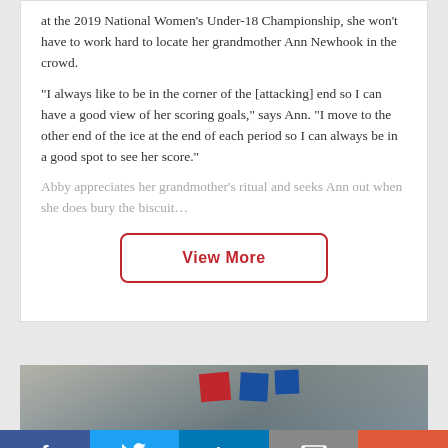at the 2019 National Women's Under-18 Championship, she won't have to work hard to locate her grandmother Ann Newhook in the crowd.
“I always like to be in the corner of the [attacking] end so I can have a good view of her scoring goals,” says Ann. “I move to the other end of the ice at the end of each period so I can always be in a good spot to see her score.”
Abby appreciates her grandmother’s ritual and seeks Ann out when she does bury the biscuit…
[Figure (other): View More button — red-bordered rounded rectangle with red bold text 'View More']
[Figure (photo): Partial photo showing what appears to be hockey-related items or flags on a table, blurred and cropped]
f  [Twitter bird]  in  [envelope]  +